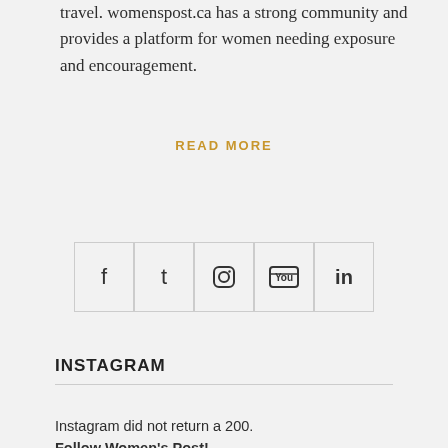travel. womenspost.ca has a strong community and provides a platform for women needing exposure and encouragement.
READ MORE
[Figure (other): Row of social media icon buttons: Facebook, Twitter, Instagram, YouTube, LinkedIn]
INSTAGRAM
Instagram did not return a 200.
Follow Women's Post!
SUBSCRIBE TO OUR NEWSLETTER